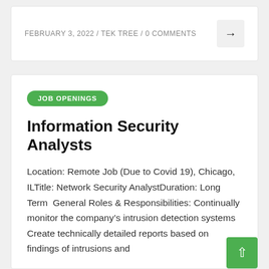FEBRUARY 3, 2022 / TEK TREE / 0 COMMENTS
JOB OPENINGS
Information Security Analysts
Location: Remote Job (Due to Covid 19), Chicago, ILTitle: Network Security AnalystDuration: Long Term  General Roles & Responsibilities: Continually monitor the company’s intrusion detection systems Create technically detailed reports based on findings of intrusions and